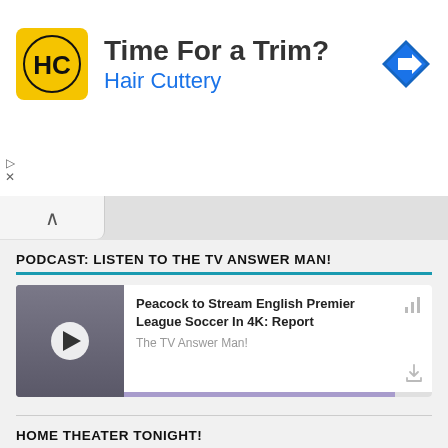[Figure (screenshot): Advertisement banner for Hair Cuttery: logo with HC letters on yellow background, headline 'Time For a Trim?', subtext 'Hair Cuttery' in blue, blue diamond arrow icon on right]
[Figure (screenshot): Podcast player card with thumbnail of person, play button, title 'Peacock to Stream English Premier League Soccer In 4K: Report', source 'The TV Answer Man!', purple progress bar]
PODCAST: LISTEN TO THE TV ANSWER MAN!
HOME THEATER TONIGHT!
Check out our new sister site, HomeTheaterTonight.com